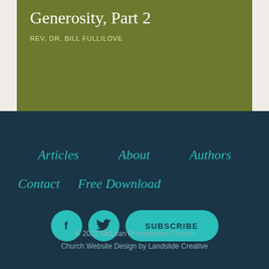Generosity, Part 2
REV. DR. BILL FULLILOVE
Articles
About
Authors
Contact
Free Download
[Figure (other): Social media icons: Facebook circle button, Twitter circle button, and a SUBSCRIBE pill button]
© 2022 McLean Presbyterian Church
Church Website Design by Landslide Creative